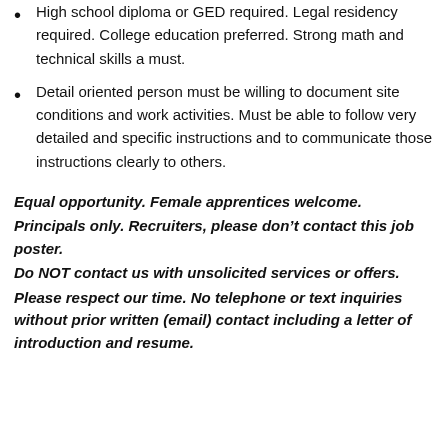High school diploma or GED required. Legal residency required. College education preferred. Strong math and technical skills a must.
Detail oriented person must be willing to document site conditions and work activities. Must be able to follow very detailed and specific instructions and to communicate those instructions clearly to others.
Equal opportunity. Female apprentices welcome. Principals only. Recruiters, please don’t contact this job poster. Do NOT contact us with unsolicited services or offers. Please respect our time. No telephone or text inquiries without prior written (email) contact including a letter of introduction and resume.